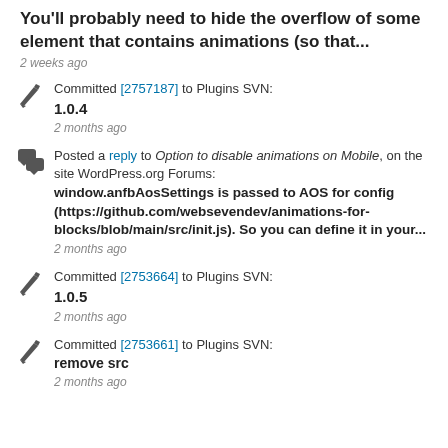You'll probably need to hide the overflow of some element that contains animations (so that...
2 weeks ago
Committed [2757187] to Plugins SVN: 1.0.4
2 months ago
Posted a reply to Option to disable animations on Mobile, on the site WordPress.org Forums: window.anfbAosSettings is passed to AOS for config (https://github.com/websevendev/animations-for-blocks/blob/main/src/init.js). So you can define it in your...
2 months ago
Committed [2753664] to Plugins SVN: 1.0.5
2 months ago
Committed [2753661] to Plugins SVN: remove src
2 months ago